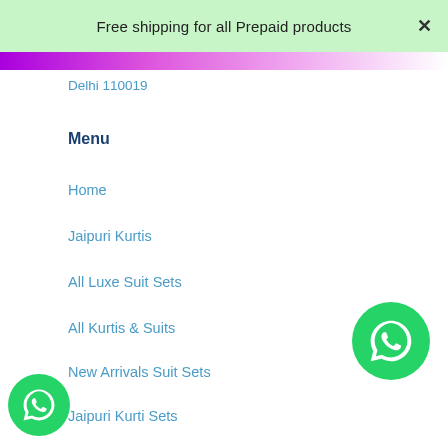Free shipping for all Prepaid products
Delhi 110019
Menu
Home
Jaipuri Kurtis
All Luxe Suit Sets
All Kurtis & Suits
New Arrivals Suit Sets
Jaipuri Kurti Sets